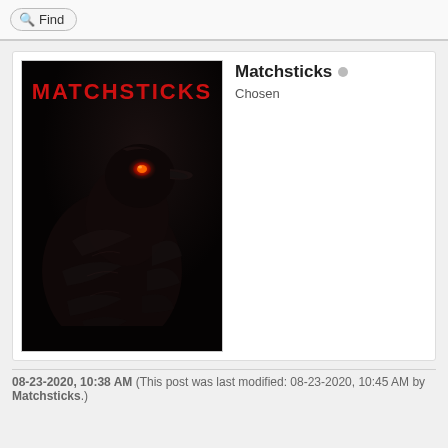Find
[Figure (illustration): Book cover for 'Matchsticks' showing a dark raven/crow with a glowing red eye against a black background, with the title 'MATCHSTICKS' in red text at the top]
Matchsticks
Chosen
08-23-2020, 10:38 AM (This post was last modified: 08-23-2020, 10:45 AM by Matchsticks.)